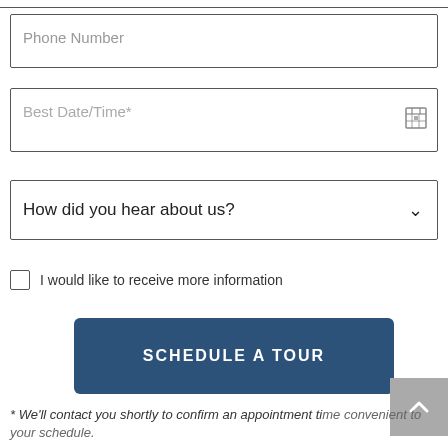Phone Number
Best Date/Time*
How did you hear about us?
I would like to receive more information
SCHEDULE A TOUR
* We'll contact you shortly to confirm an appointment time convenient to your schedule.